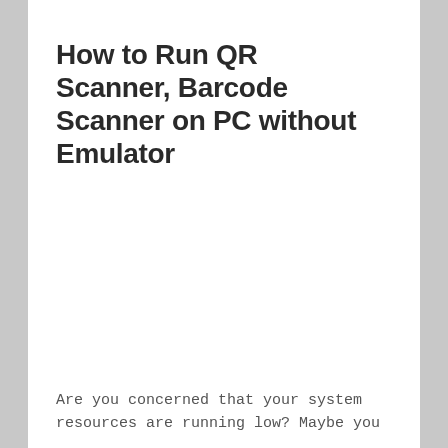How to Run QR Scanner, Barcode Scanner on PC without Emulator
Are you concerned that your system resources are running low? Maybe you